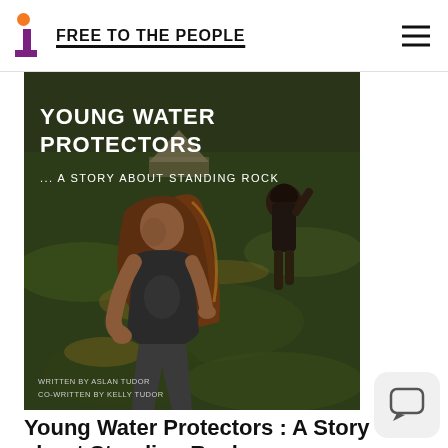FREE TO THE PEOPLE
[Figure (photo): Book cover of 'Young Water Protectors: A Story About Standing Rock'. Shows two children in a grassy field at golden hour. Text reads: YOUNG WATER PROTECTORS ... A STORY ABOUT STANDING ROCK. Written by Aslan Tudor, Co-written by Kelly Tudor.]
Young Water Protectors : A Story about Standing Rock